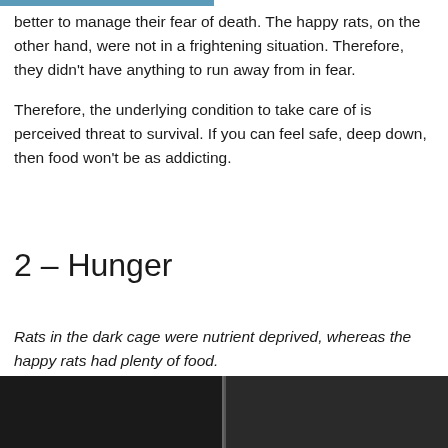better to manage their fear of death. The happy rats, on the other hand, were not in a frightening situation. Therefore, they didn't have anything to run away from in fear.

Therefore, the underlying condition to take care of is perceived threat to survival. If you can feel safe, deep down, then food won't be as addicting.
2 – Hunger
Rats in the dark cage were nutrient deprived, whereas the happy rats had plenty of food.
[Figure (photo): Two side-by-side dark photographs of rats, partially visible at the bottom of the page.]